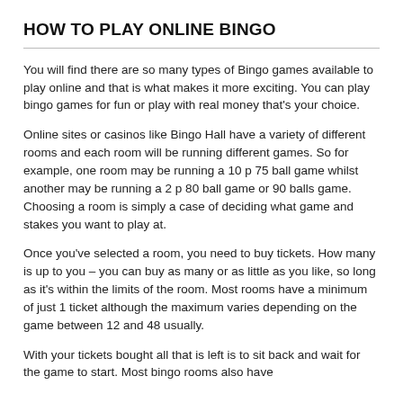HOW TO PLAY ONLINE BINGO
You will find there are so many types of Bingo games available to play online and that is what makes it more exciting. You can play bingo games for fun or play with real money that’s your choice.
Online sites or casinos like Bingo Hall have a variety of different rooms and each room will be running different games. So for example, one room may be running a 10 p 75 ball game whilst another may be running a 2 p 80 ball game or 90 balls game. Choosing a room is simply a case of deciding what game and stakes you want to play at.
Once you’ve selected a room, you need to buy tickets. How many is up to you – you can buy as many or as little as you like, so long as it’s within the limits of the room. Most rooms have a minimum of just 1 ticket although the maximum varies depending on the game between 12 and 48 usually.
With your tickets bought all that is left is to sit back and wait for the game to start. Most bingo rooms also have